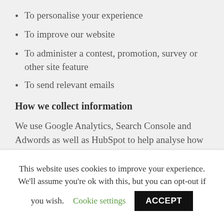To personalise your experience
To improve our website
To administer a contest, promotion, survey or other site feature
To send relevant emails
How we collect information
We use Google Analytics, Search Console and Adwords as well as HubSpot to help analyse how users use the site. The tools use cookies to collect standard Internet log information and visitor behaviour information in an anonymous form. The
This website uses cookies to improve your experience. We'll assume you're ok with this, but you can opt-out if you wish. Cookie settings ACCEPT